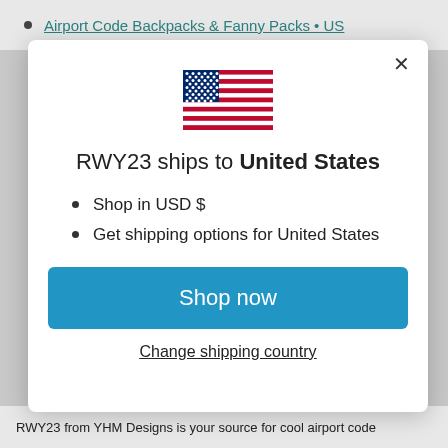Airport Code Backpacks & Fanny Packs · US
[Figure (illustration): US flag emoji/icon]
RWY23 ships to United States
Shop in USD $
Get shipping options for United States
Shop now
Change shipping country
RWY23 from YHM Designs is your source for cool airport code